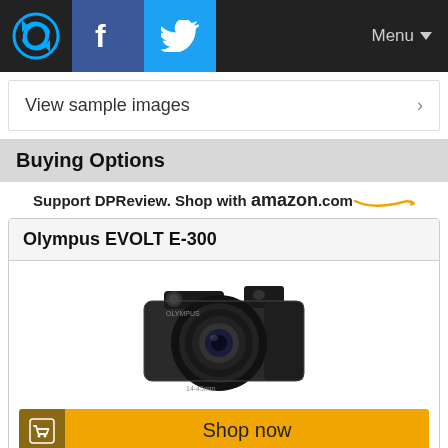DPReview navigation bar with logo, Facebook, Twitter, and Menu
View sample images
Buying Options
Support DPReview. Shop with amazon.com
Olympus EVOLT E-300
[Figure (photo): Olympus EVOLT E-300 digital SLR camera with lens]
Shop now
Olympus Evolt E300 8MP Digital SLR (Body Only)
See price on Amazon.com